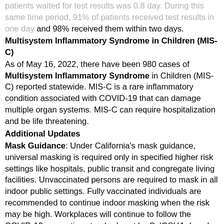patients waited for test results was 0.8 day. During this same time period, 91% of patients received test results in one day and 98% received them within two days.
Multisystem Inflammatory Syndrome in Children (MIS-C)
As of May 16, 2022, there have been 980 cases of Multisystem Inflammatory Syndrome in Children (MIS-C) reported statewide. MIS-C is a rare inflammatory condition associated with COVID-19 that can damage multiple organ systems. MIS-C can require hospitalization and be life threatening.
Additional Updates
Mask Guidance: Under California's mask guidance, universal masking is required only in specified higher risk settings like hospitals, public transit and congregate living facilities. Unvaccinated persons are required to mask in all indoor public settings. Fully vaccinated individuals are recommended to continue indoor masking when the risk may be high. Workplaces will continue to follow the COVID-19 prevention standards set by CalOSHA. Local health jurisdictions may implement requirements that are stricter than state guidance.
Slow the Spread: Get Vaccinated and Boosted for COVID-19
The risk for COVID-19 exposure and infection continues as a number of Californians remain unvaccinated and